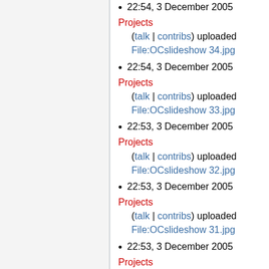22:54, 3 December 2005 Projects (talk | contribs) uploaded File:OCslideshow 34.jpg
22:54, 3 December 2005 Projects (talk | contribs) uploaded File:OCslideshow 33.jpg
22:53, 3 December 2005 Projects (talk | contribs) uploaded File:OCslideshow 32.jpg
22:53, 3 December 2005 Projects (talk | contribs) uploaded File:OCslideshow 31.jpg
22:53, 3 December 2005 Projects (talk | contribs) uploaded File:OCslideshow 30.jpg
22:52, 3 December 2005 Projects (talk | contribs) uploaded File:OCslideshow 29.jpg
22:52, 3 December 2005 Projects (talk | contribs) uploaded